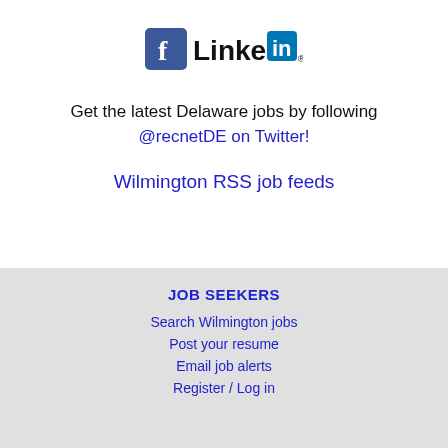[Figure (logo): Facebook logo (blue F square icon) and LinkedIn logo (Linked text with blue 'in' square icon with registered trademark symbol)]
Get the latest Delaware jobs by following @recnetDE on Twitter!
Wilmington RSS job feeds
JOB SEEKERS
Search Wilmington jobs
Post your resume
Email job alerts
Register / Log in